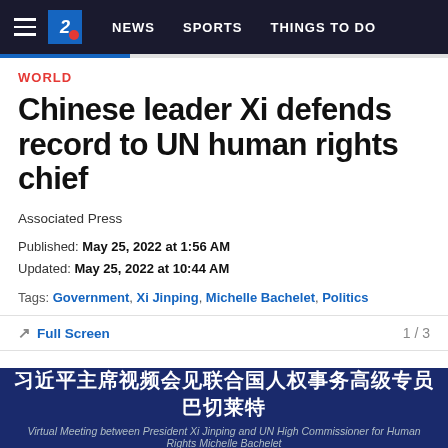NEWS  SPORTS  THINGS TO DO
WORLD
Chinese leader Xi defends record to UN human rights chief
Associated Press
Published: May 25, 2022 at 1:56 AM
Updated: May 25, 2022 at 10:44 AM
Tags: Government, Xi Jinping, Michelle Bachelet, Politics
Full Screen  1 / 3
[Figure (screenshot): Dark blue banner with Chinese text '习近平主席视频会见联合国人权事务高级专员巴切莱特' and English subtitle 'Virtual Meeting between President Xi Jinping and UN High Commissioner for Human Rights Michelle Bachelet']